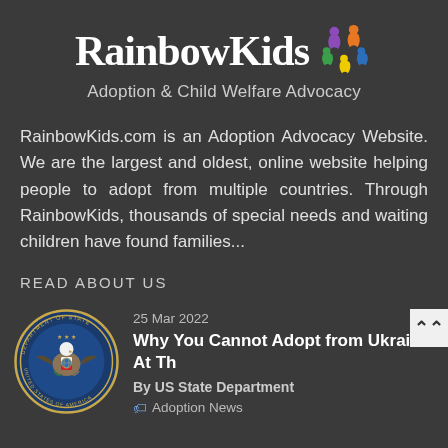[Figure (logo): RainbowKids logo with colorful child figures and text 'RainbowKids Adoption & Child Welfare Advocacy']
RainbowKids.com is an Adoption Advocacy Website. We are the largest and oldest, online website helping people to adopt from multiple countries. Through RainbowKids, thousands of special needs and waiting children have found families...
READ ABOUT US
[Figure (logo): US Department of State seal]
25 Mar 2022
Why You Cannot Adopt from Ukraine At Th
By US State Department
Adoption News